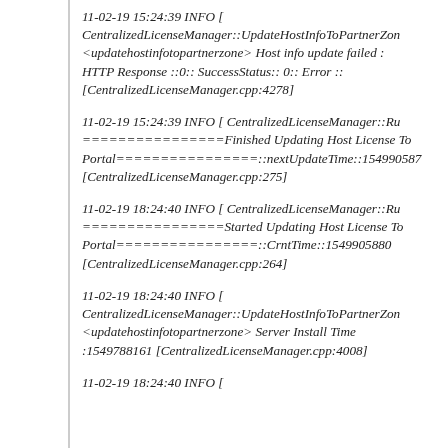11-02-19 15:24:39 INFO [ CentralizedLicenseManager::UpdateHostInfoToPartnerZon <updatehostinfotopartnerzone> Host info update failed : HTTP Response ::0:: SuccessStatus:: 0:: Error :: [CentralizedLicenseManager.cpp:4278]
11-02-19 15:24:39 INFO [ CentralizedLicenseManager::Ru ================Finished Updating Host License To Portal================::nextUpdateTime::154990587 [CentralizedLicenseManager.cpp:275]
11-02-19 18:24:40 INFO [ CentralizedLicenseManager::Ru ================Started Updating Host License To Portal================::CrntTime::1549905880 [CentralizedLicenseManager.cpp:264]
11-02-19 18:24:40 INFO [ CentralizedLicenseManager::UpdateHostInfoToPartnerZon <updatehostinfotopartnerzone> Server Install Time :1549788161 [CentralizedLicenseManager.cpp:4008]
11-02-19 18:24:40 INFO [